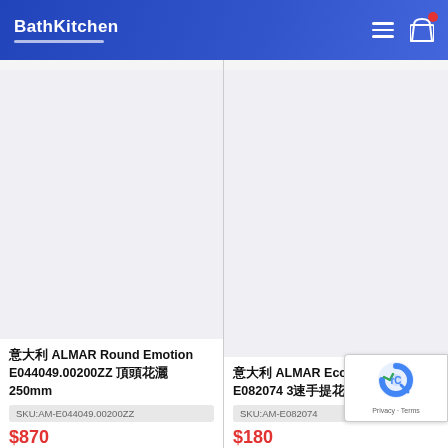BathKitchen
[Figure (photo): White empty product image area for 意大利 ALMAR Round Emotion E044049.00200ZZ 頂頭花灑 250mm]
意大利 ALMAR Round Emotion E044049.00200ZZ 頂頭花灑 250mm
SKU:AM-E044049.00200ZZ
$870
[Figure (photo): White empty product image area for 意大利 ALMAR EcoAir Emotion E082074 3速手提花灑頭]
意大利 ALMAR EcoAir Emotion E082074 3速手提花灑頭
SKU:AM-E082074
$180